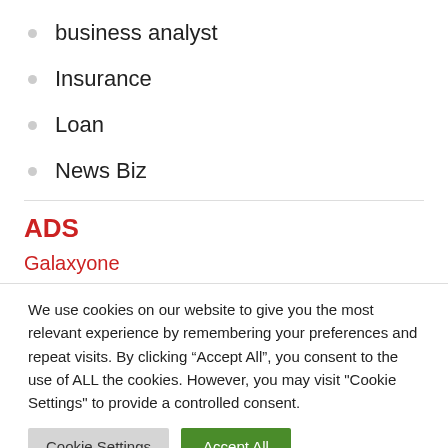business analyst
Insurance
Loan
News Biz
ADS
Galaxyone
We use cookies on our website to give you the most relevant experience by remembering your preferences and repeat visits. By clicking “Accept All”, you consent to the use of ALL the cookies. However, you may visit "Cookie Settings" to provide a controlled consent.